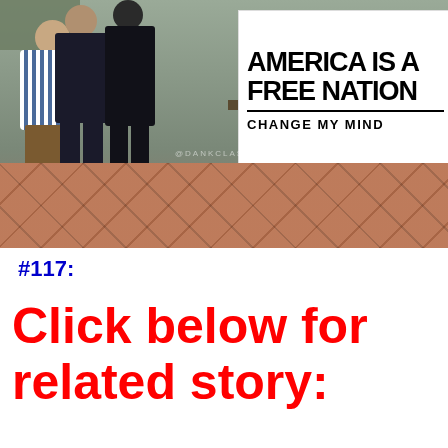[Figure (photo): A person being detained by police officers near a table with a sign reading 'AMERICA IS A FREE NATION CHANGE MY MIND', on a brick paved area outdoors.]
#117:
Click below for related story: